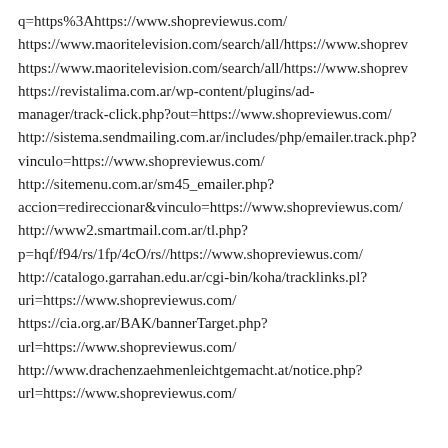q=https%3Ahttps://www.shopreviewus.com/
https://www.maoritelevision.com/search/all/https://www.shoprev
https://www.maoritelevision.com/search/all/https://www.shoprev
https://revistalima.com.ar/wp-content/plugins/ad-manager/track-click.php?out=https://www.shopreviewus.com/
http://sistema.sendmailing.com.ar/includes/php/emailer.track.php?vinculo=https://www.shopreviewus.com/
http://sitemenu.com.ar/sm45_emailer.php?accion=redireccionar&vinculo=https://www.shopreviewus.com/
http://www2.smartmail.com.ar/tl.php?p=hqf/f94/rs/1fp/4cO/rs//https://www.shopreviewus.com/
http://catalogo.garrahan.edu.ar/cgi-bin/koha/tracklinks.pl?uri=https://www.shopreviewus.com/
https://cia.org.ar/BAK/bannerTarget.php?url=https://www.shopreviewus.com/
http://www.drachenzaehmenleichtgemacht.at/notice.php?url=https://www.shopreviewus.com/